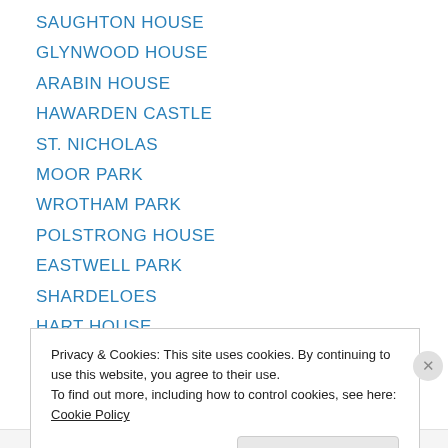SAUGHTON HOUSE
GLYNWOOD HOUSE
ARABIN HOUSE
HAWARDEN CASTLE
ST. NICHOLAS
MOOR PARK
WROTHAM PARK
POLSTRONG HOUSE
EASTWELL PARK
SHARDELOES
HART HOUSE
THE WOOD HOUSE
GREEN CLOSE
Privacy & Cookies: This site uses cookies. By continuing to use this website, you agree to their use.
To find out more, including how to control cookies, see here: Cookie Policy
Close and accept